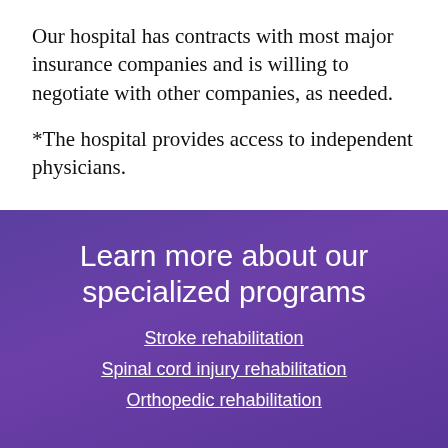Our hospital has contracts with most major insurance companies and is willing to negotiate with other companies, as needed.
*The hospital provides access to independent physicians.
Learn more about our specialized programs
Stroke rehabilitation
Spinal cord injury rehabilitation
Orthopedic rehabilitation